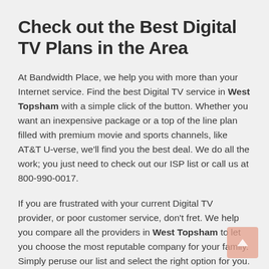Check out the Best Digital TV Plans in the Area
At Bandwidth Place, we help you with more than your Internet service. Find the best Digital TV service in West Topsham with a simple click of the button. Whether you want an inexpensive package or a top of the line plan filled with premium movie and sports channels, like AT&T U-verse, we'll find you the best deal. We do all the work; you just need to check out our ISP list or call us at 800-990-0017.
If you are frustrated with your current Digital TV provider, or poor customer service, don't fret. We help you compare all the providers in West Topsham to let you choose the most reputable company for your family. Simply peruse our list and select the right option for you.